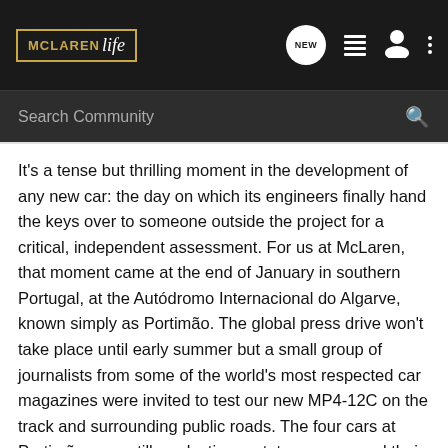[Figure (screenshot): McLaren Life community website header with logo, navigation icons (NEW bubble, list, user, dots), and search bar reading 'Search Community']
It's a tense but thrilling moment in the development of any new car: the day on which its engineers finally hand the keys over to someone outside the project for a critical, independent assessment. For us at McLaren, that moment came at the end of January in southern Portugal, at the Autódromo Internacional do Algarve, known simply as Portimão. The global press drive won't take place until early summer but a small group of journalists from some of the world's most respected car magazines were invited to test our new MP4-12C on the track and surrounding public roads. The four cars at Portimão were still production prototypes, excused their duties from our exhaustive test programme at the IDIADA track near Barcelona; I drove one down to Portugal myself. I suspect that few car makers would have given the press access to their prototypes, but we felt that the cars were ready, and we knew that